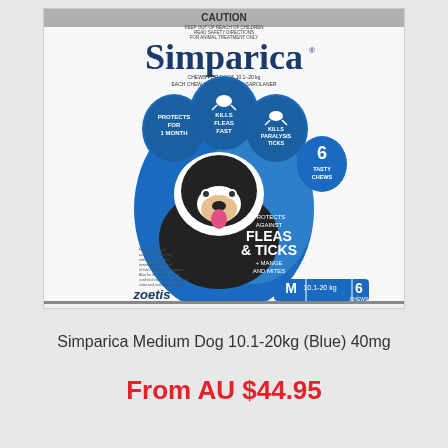[Figure (photo): Simparica Medium Dog 10.1-20kg Blue 40mg product box showing a border collie dog, blue paw shield design, with text: CAUTION, KILLS FLEAS FAST, KILLS PARALYSIS TICKS, PROTECTS FOR 1 MONTH, 6 TASTY CHEWS, PROTECTS AGAINST FLEAS & TICKS + MANGE AND MITES, Simparica brand name, zoetis logo, M 10.1-20kg 6 chews]
Simparica Medium Dog 10.1-20kg (Blue) 40mg
From AU $44.95